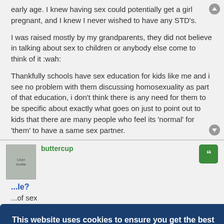early age. I knew having sex could potentially get a girl pregnant, and I knew I never wished to have any STD's.
I was raised mostly by my grandparents, they did not believe in talking about sex to children or anybody else come to think of it :wah:
Thankfully schools have sex education for kids like me and i see no problem with them discussing homosexuality as part of that education, i don't think there is any need for them to be specific about exactly what goes on just to point out to kids that there are many people who feel its 'normal' for 'them' to have a same sex partner.
buttercup
...le?
...of sex
This website uses cookies to ensure you get the best experience on our website. Learn more
Got it!
Yes thats true but not everybody having sex wants to reproduce